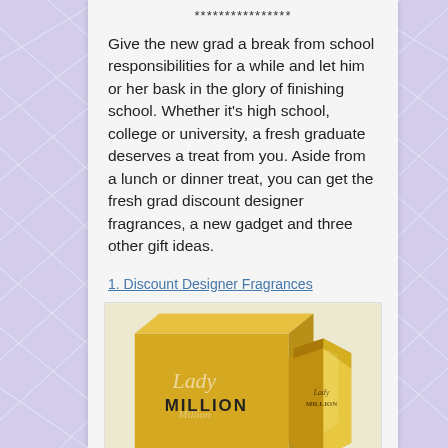****************
Give the new grad a break from school responsibilities for a while and let him or her bask in the glory of finishing school. Whether it's high school, college or university, a fresh graduate deserves a treat from you. Aside from a lunch or dinner treat, you can get the fresh grad discount designer fragrances, a new gadget and three other gift ideas.
1. Discount Designer Fragrances
[Figure (photo): Lady Million perfume box and bottle by Paco Rabanne, gold colored packaging]